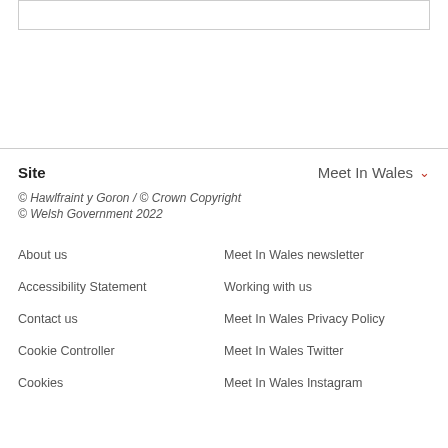Site
Meet In Wales
© Hawlfraint y Goron / © Crown Copyright
© Welsh Government 2022
About us
Meet In Wales newsletter
Accessibility Statement
Working with us
Contact us
Meet In Wales Privacy Policy
Cookie Controller
Meet In Wales Twitter
Cookies
Meet In Wales Instagram